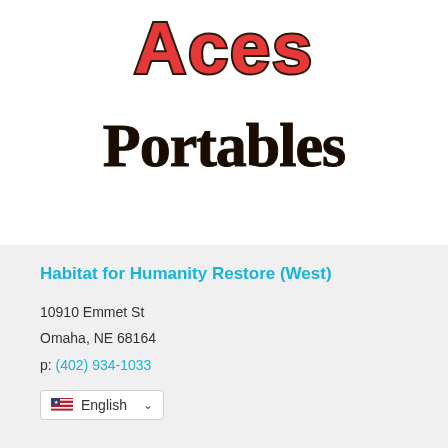[Figure (logo): Aces Portables logo — red bubbly script letters partially cropped at top, with 'Portables' in large dark brown/black hand-lettered script below]
Habitat for Humanity Restore (West)
10910 Emmet St
Omaha, NE 68164
p: (402) 934-1033
English (language selector dropdown)